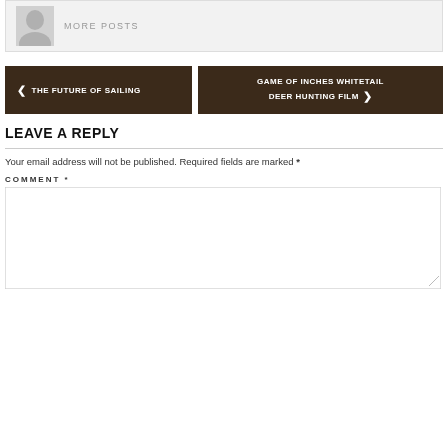[Figure (illustration): Author avatar placeholder with gray background and silhouette icon]
MORE POSTS
< THE FUTURE OF SAILING
GAME OF INCHES WHITETAIL DEER HUNTING FILM >
LEAVE A REPLY
Your email address will not be published. Required fields are marked *
COMMENT *